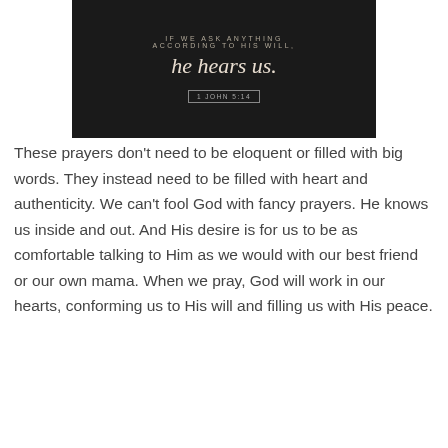[Figure (illustration): Dark background image with text overlay reading 'IF WE ASK ANYTHING ACCORDING TO HIS WILL, he hears us.' with reference '1 JOHN 5:14']
These prayers don't need to be eloquent or filled with big words. They instead need to be filled with heart and authenticity. We can't fool God with fancy prayers. He knows us inside and out. And His desire is for us to be as comfortable talking to Him as we would with our best friend or our own mama. When we pray, God will work in our hearts, conforming us to His will and filling us with His peace.